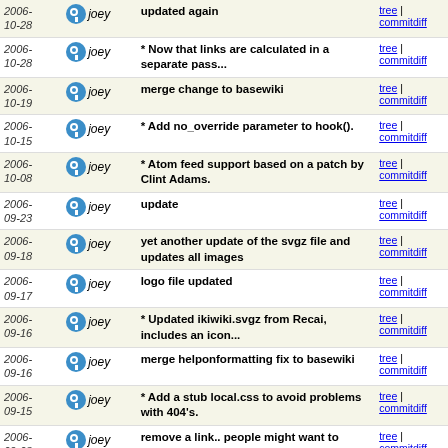| Date | Author | Message | Links |
| --- | --- | --- | --- |
| 2006-10-28 | joey | updated again | tree | commitdiff |
| 2006-10-28 | joey | * Now that links are calculated in a separate pass... | tree | commitdiff |
| 2006-10-19 | joey | merge change to basewiki | tree | commitdiff |
| 2006-10-15 | joey | * Add no_override parameter to hook(). | tree | commitdiff |
| 2006-10-08 | joey | * Atom feed support based on a patch by Clint Adams. | tree | commitdiff |
| 2006-09-23 | joey | update | tree | commitdiff |
| 2006-09-18 | joey | yet another update of the svgz file and updates all images | tree | commitdiff |
| 2006-09-17 | joey | logo file updated | tree | commitdiff |
| 2006-09-16 | joey | * Updated ikiwiki.svgz from Recai, includes an icon... | tree | commitdiff |
| 2006-09-16 | joey | merge helponformatting fix to basewiki | tree | commitdiff |
| 2006-09-15 | joey | * Add a stub local.css to avoid problems with 404's. | tree | commitdiff |
| 2006-09-08 | joey | remove a link.. people might want to replace the blog... | tree | commitdiff |
| 2006-08-28 | joey | * Patch from James Westby to add an actions option... | tree | commitdiff |